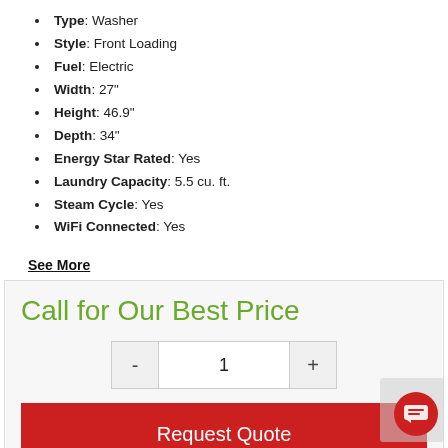Type: Washer
Style: Front Loading
Fuel: Electric
Width: 27"
Height: 46.9"
Depth: 34"
Energy Star Rated: Yes
Laundry Capacity: 5.5 cu. ft.
Steam Cycle: Yes
WiFi Connected: Yes
See More
Call for Our Best Price
Request Quote
Share This Item